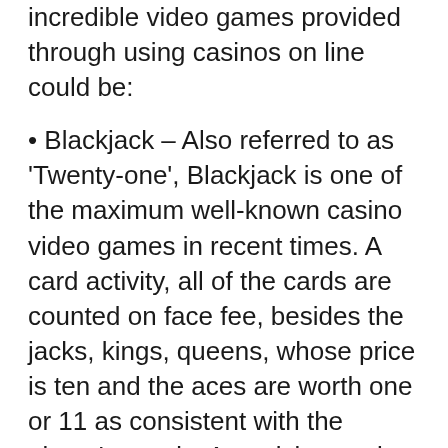incredible video games provided through using casinos on line could be:
• Blackjack – Also referred to as 'Twenty-one', Blackjack is one of the maximum well-known casino video games in recent times. A card activity, all of the cards are counted on face fee, besides the jacks, kings, queens, whose price is ten and the aces are worth one or 11 as consistent with the player's needs. A participant wins if he gets more elements than the supplier however now not exceeding twenty-one.